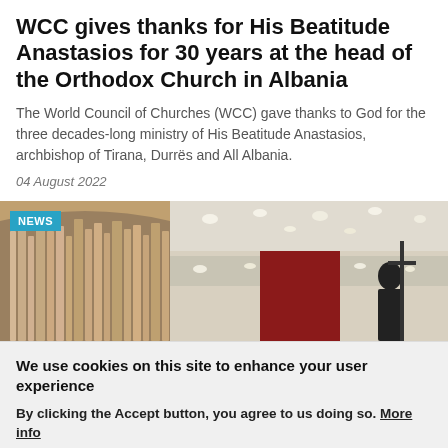WCC gives thanks for His Beatitude Anastasios for 30 years at the head of the Orthodox Church in Albania
The World Council of Churches (WCC) gave thanks to God for the three decades-long ministry of His Beatitude Anastasios, archbishop of Tirana, Durrës and All Albania.
04 August 2022
[Figure (photo): Church interior showing organ pipes on the left and a large auditorium ceiling with recessed lighting on the right. A 'NEWS' badge overlay in cyan/teal is in the top-left corner.]
We use cookies on this site to enhance your user experience
By clicking the Accept button, you agree to us doing so. More info
ACCEPT
NO, THANKS